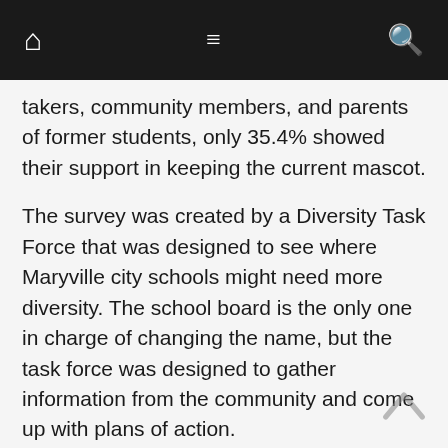Navigation bar with home, menu, and search icons
takers, community members, and parents of former students, only 35.4% showed their support in keeping the current mascot.
The survey was created by a Diversity Task Force that was designed to see where Maryville city schools might need more diversity. The school board is the only one in charge of changing the name, but the task force was designed to gather information from the community and come up with plans of action.
The statement found on the Maryville City Schools Website says, “We welcome open communication and seek ways to improve our work toward the creation of inclusive, safe, and supportive systems